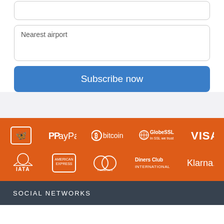Nearest airport
Subscribe now
[Figure (logo): Payment and trust logos: Butterfly/brand logo, PayPal, Bitcoin, GlobeSSL, VISA (top row); IATA, American Express, Mastercard, Diners Club International, Klarna (bottom row)]
SOCIAL NETWORKS